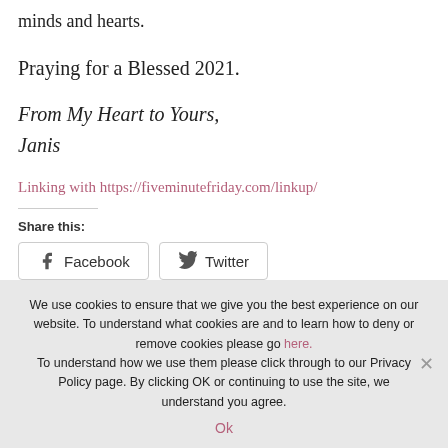minds and hearts.
Praying for a Blessed 2021.
From My Heart to Yours,
Janis
Linking with https://fiveminutefriday.com/linkup/
Share this:
[Figure (screenshot): Facebook and Twitter share buttons]
We use cookies to ensure that we give you the best experience on our website. To understand what cookies are and to learn how to deny or remove cookies please go here. To understand how we use them please click through to our Privacy Policy page. By clicking OK or continuing to use the site, we understand you agree.
Ok